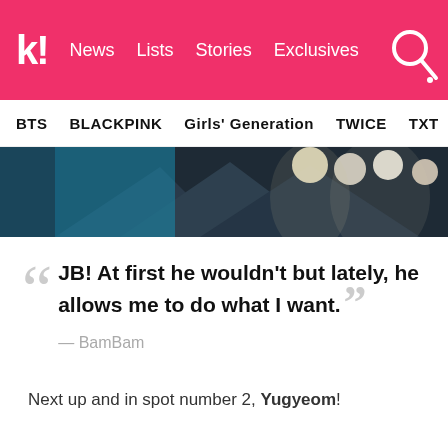k! News Lists Stories Exclusives
BTS BLACKPINK Girls' Generation TWICE TXT SEVE
[Figure (photo): Stage photo with bright lights and dark background, concert or performance setting]
JB! At first he wouldn't but lately, he allows me to do what I want. — BamBam
Next up and in spot number 2, Yugyeom!